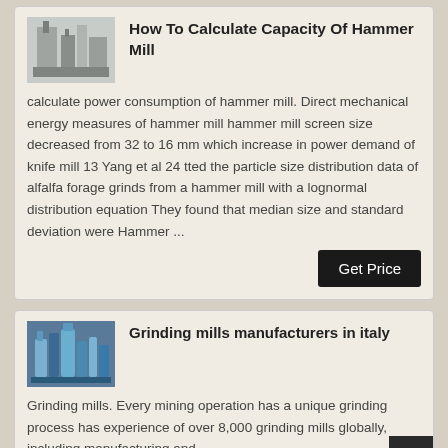[Figure (photo): Industrial hammer mill / grinding equipment facility photo, top card]
How To Calculate Capacity Of Hammer Mill
calculate power consumption of hammer mill. Direct mechanical energy measures of hammer mill hammer mill screen size decreased from 32 to 16 mm which increase in power demand of knife mill 13 Yang et al 24 tted the particle size distribution data of alfalfa forage grinds from a hammer mill with a lognormal distribution equation They found that median size and standard deviation were Hammer ...
[Figure (photo): Industrial grinding mills / silos facility photo, bottom card]
Grinding mills manufacturers in italy
Grinding mills. Every mining operation has a unique grinding process has experience of over 8,000 grinding mills globally, including manufacturing and